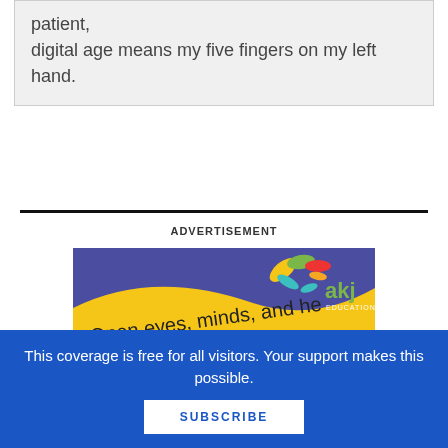patient, digital age means my five fingers on my left hand.
ADVERTISEMENT
[Figure (illustration): AKJ Education advertisement banner with yellow wave, colorful leaves/book logo, text 'Open eyes, minds, and he...' in cursive on blue/yellow background]
This coverage is free for all visitors. Your support makes this possible.
SUBSCRIBE